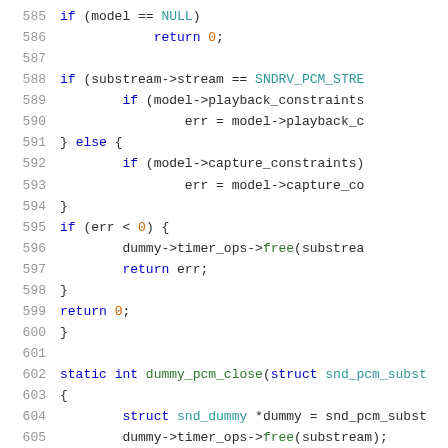Source code listing lines 585-605 showing C code for PCM substream handling including model null check, stream direction checks, error handling, and dummy_pcm_close function definition.